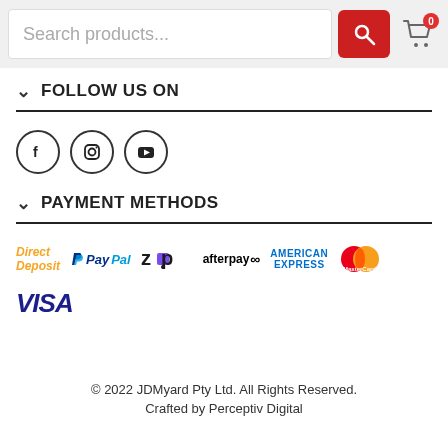Search products...
FOLLOW US ON
[Figure (infographic): Three social media icons in circles: Facebook (f), Instagram (camera), YouTube (play button)]
PAYMENT METHODS
[Figure (infographic): Payment method logos: Direct Deposit, PayPal, Zip, afterpay, American Express, MasterCard, VISA]
© 2022 JDMyard Pty Ltd. All Rights Reserved. Crafted by Perceptiv Digital